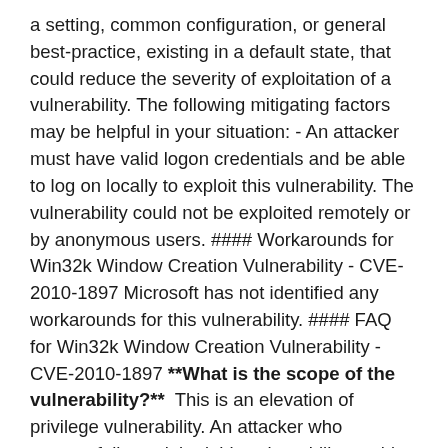a setting, common configuration, or general best-practice, existing in a default state, that could reduce the severity of exploitation of a vulnerability. The following mitigating factors may be helpful in your situation: - An attacker must have valid logon credentials and be able to log on locally to exploit this vulnerability. The vulnerability could not be exploited remotely or by anonymous users. #### Workarounds for Win32k Window Creation Vulnerability - CVE-2010-1897 Microsoft has not identified any workarounds for this vulnerability. #### FAQ for Win32k Window Creation Vulnerability - CVE-2010-1897 **What is the scope of the vulnerability?**  This is an elevation of privilege vulnerability. An attacker who successfully exploited this vulnerability could execute arbitrary code and take complete control of an affected system. An attacker could then install programs; view, change, or delete data; or create new accounts with full user rights. **What causes the